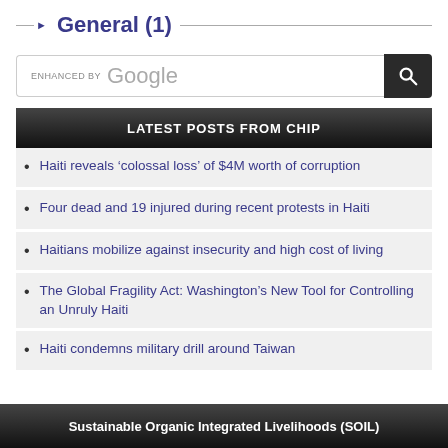General (1)
[Figure (screenshot): Google search bar with ENHANCED BY Google text and a search button]
LATEST POSTS FROM CHIP
Haiti reveals ‘colossal loss’ of $4M worth of corruption
Four dead and 19 injured during recent protests in Haiti
Haitians mobilize against insecurity and high cost of living
The Global Fragility Act: Washington’s New Tool for Controlling an Unruly Haiti
Haiti condemns military drill around Taiwan
Sustainable Organic Integrated Livelihoods (SOIL)